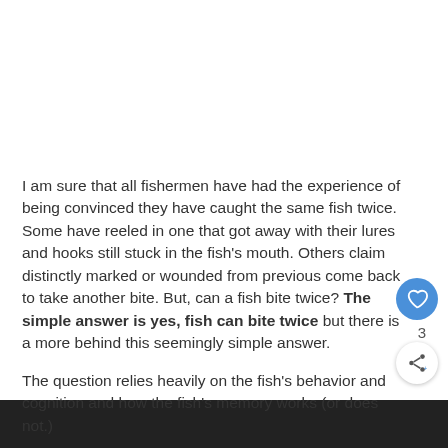I am sure that all fishermen have had the experience of being convinced they have caught the same fish twice. Some have reeled in one that got away with their lures and hooks still stuck in the fish's mouth. Others claim distinctly marked or wounded from previous come back to take another bite. But, can a fish bite twice? The simple answer is yes, fish can bite twice but there is a more behind this seemingly simple answer.
The question relies heavily on the fish's behavior and cognition and how the fish's memory works (or does not.)